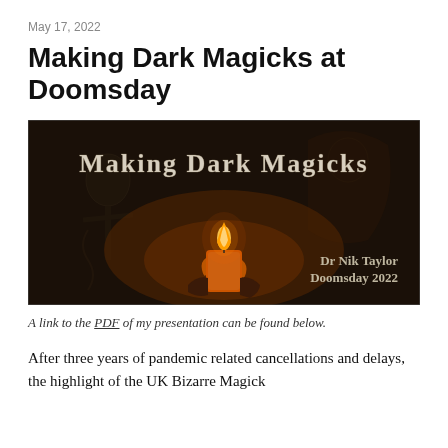May 17, 2022
Making Dark Magicks at Doomsday
[Figure (illustration): Dark themed promotional image for 'Making Dark Magicks' featuring gothic lettering, a candle flame, skeletal figures, and text reading 'Dr Nik Taylor Doomsday 2022']
A link to the PDF of my presentation can be found below.
After three years of pandemic related cancellations and delays, the highlight of the UK Bizarre Magick